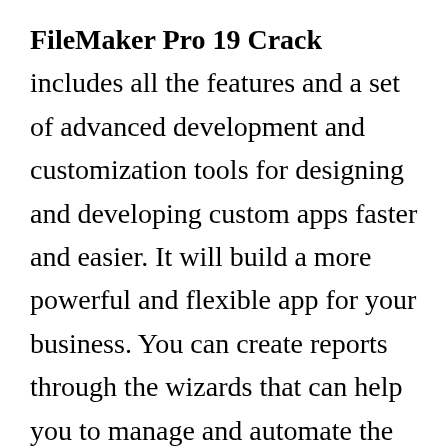FileMaker Pro 19 Crack includes all the features and a set of advanced development and customization tools for designing and developing custom apps faster and easier. It will build a more powerful and flexible app for your business. You can create reports through the wizards that can help you to manage and automate the tasks using the crack. You can also export your reports to Excel or PDF to send them by email. A palette of tools will make the task of designing databases much easier using the Inspector feature with the license key. You can use the reporting tools for creating reports step by step and adding data to the form.